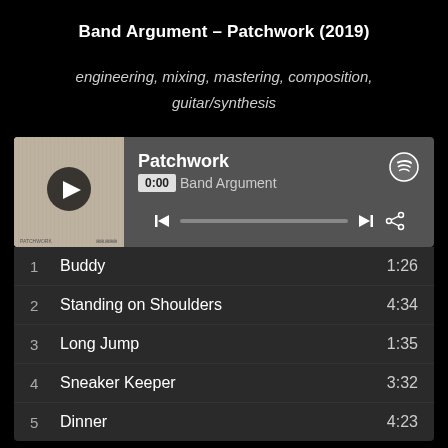Band Argument – Patchwork (2019)
engineering, mixing, mastering, composition, guitar/synthesis
[Figure (screenshot): Spotify web player showing the album Patchwork by Band Argument. Shows album art, play button, track position 0:00, progress bar, and controls including skip and share buttons.]
1  Buddy  1:26
2  Standing on Shoulders  4:34
3  Long Jump  1:35
4  Sneaker Keeper  3:32
5  Dinner  4:23